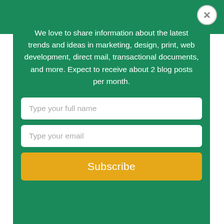[Figure (screenshot): A modal popup dialog with a teal/green background showing a newsletter subscription form. Contains descriptive text, two input fields (full name and email), and a yellow Subscribe button. A close (X) button appears in the top-right corner.]
We love to share information about the latest trends and ideas in marketing, design, print, web development, direct mail, transactional documents, and more. Expect to receive about 2 blog posts per month.
Thank You!
Direct Marketing is More Important Now Than Ever Before